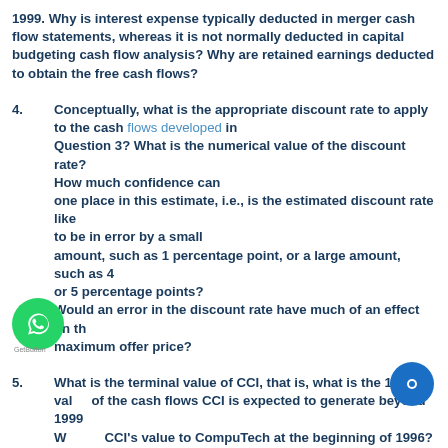1999. Why is interest expense typically deducted in merger cash flow statements, whereas it is not normally deducted in capital budgeting cash flow analysis? Why are retained earnings deducted to obtain the free cash flows?
4. Conceptually, what is the appropriate discount rate to apply to the cash flows developed in Question 3? What is the numerical value of the discount rate? How much confidence can one place in this estimate, i.e., is the estimated discount rate likely to be in error by a small amount, such as 1 percentage point, or a large amount, such as 4 or 5 percentage points? Would an error in the discount rate have much of an effect on the maximum offer price?
5. What is the terminal value of CCI, that is, what is the 1999 value of the cash flows CCI is expected to generate beyond 1999? What is CCI's value to CompuTech at the beginning of 1996? Suppose another firm was evaluating CCI as a potential acquisition candidate. Would